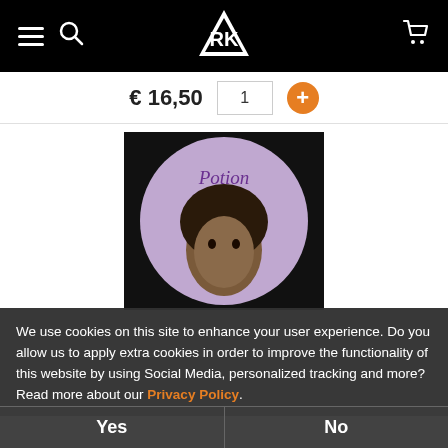Navigation bar with hamburger menu, search icon, logo, and cart icon
€ 16,50  1  +
[Figure (photo): Album cover for 'Potion' by Rick Clarke - a vinyl record label showing a purple/lavender circle with the text 'Potion Rick Clarke' and a portrait of a man with an afro hairstyle, on a black background]
We use cookies on this site to enhance your user experience. Do you allow us to apply extra cookies in order to improve the functionality of this website by using Social Media, personalized tracking and more? Read more about our Privacy Policy.
Yes
No